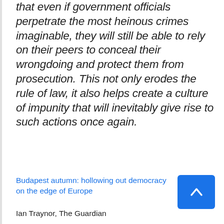that even if government officials perpetrate the most heinous crimes imaginable, they will still be able to rely on their peers to conceal their wrongdoing and protect them from prosecution. This not only erodes the rule of law, it also helps create a culture of impunity that will inevitably give rise to such actions once again.
Budapest autumn: hollowing out democracy on the edge of Europe
Ian Traynor, The Guardian